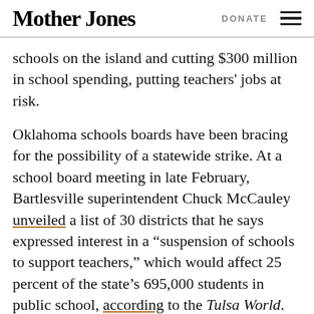Mother Jones | DONATE
schools on the island and cutting $300 million in school spending, putting teachers' jobs at risk.
Oklahoma schools boards have been bracing for the possibility of a statewide strike. At a school board meeting in late February, Bartlesville superintendent Chuck McCauley unveiled a list of 30 districts that he says expressed interest in a “suspension of schools to support teachers,” which would affect 25 percent of the state’s 695,000 students in public school, according to the Tulsa World. Tulsa and Oklahoma City, the state’s two largest districts, passed resolutions that support the teachers’ efforts to “take any steps necessary to